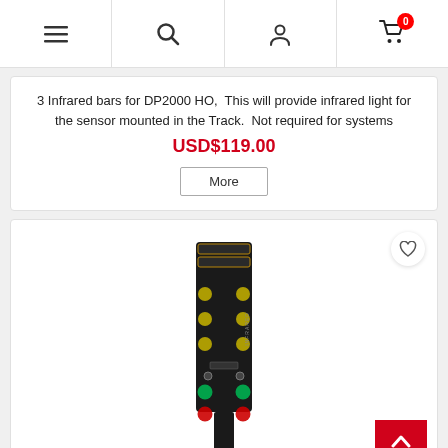Navigation header with menu, search, user, and cart icons
3 Infrared bars for DP2000 HO,  This will provide infrared light for the sensor mounted in the Track.  Not required for systems
USD$119.00
More
[Figure (photo): A black PCB infrared LED bar board with multiple yellow/green/red LEDs arranged vertically, resembling a signal mast. The board has connectors at the top and a stem at the bottom.]